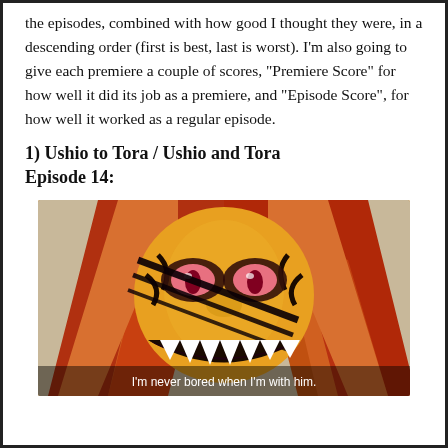the episodes, combined with how good I thought they were, in a descending order (first is best, last is worst). I'm also going to give each premiere a couple of scores, "Premiere Score" for how well it did its job as a premiere, and "Episode Score", for how well it worked as a regular episode.
1) Ushio to Tora / Ushio and Tora Episode 14:
[Figure (illustration): Anime screenshot of a tiger-like demon character with orange striped fur, long flowing orange hair, sharp claws, and a wide toothy grin. Subtitle reads: I'm never bored when I'm with him.]